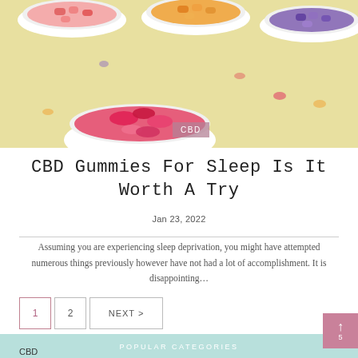[Figure (photo): Overhead photo of colorful candy gummies in white bowls on a yellow background — pink, orange, red, purple colors visible.]
CBD Gummies For Sleep Is It Worth A Try
Jan 23, 2022
Assuming you are experiencing sleep deprivation, you might have attempted numerous things previously however have not had a lot of accomplishment. It is disappointing...
POPULAR CATEGORIES
CBD